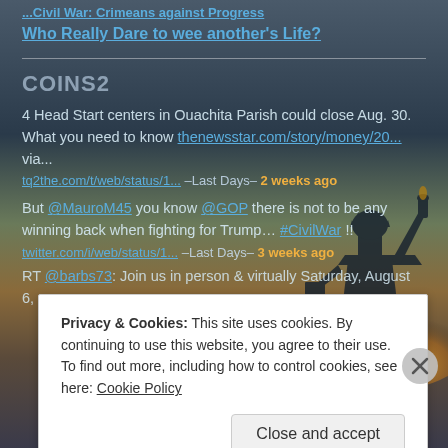[Figure (screenshot): Screenshot of a blog/social media page with a background image of the Statue of Liberty at sunset with dramatic cloudy sky. The page shows tweets and links overlaid on the background image, plus a cookie consent banner popup at the bottom.]
...Civil War: Crimeans against Progress
Who Really Dare to wee another's Life?
COINS2
4 Head Start centers in Ouachita Parish could close Aug. 30. What you need to know thenewsstar.com/story/money/20... via...
tq2the.com/t/web/status/1... –Last Days– 2 weeks ago
But @MauroM45 you know @GOP there is not to be any winning back when fighting for Trump... #CivilWar !!
twitter.com/i/web/status/1... –Last Days– 3 weeks ago
RT @barbs73: Join us in person & virtually Saturday, August 6, as we
Privacy & Cookies: This site uses cookies. By continuing to use this website, you agree to their use.
To find out more, including how to control cookies, see here: Cookie Policy
Close and accept